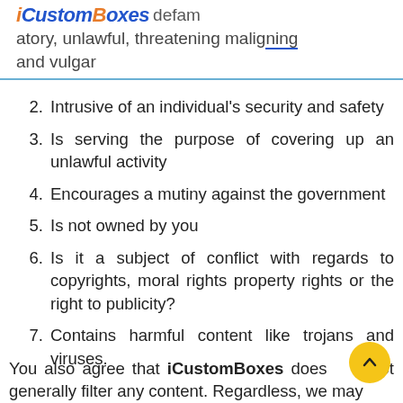iCustomBoxes — defamatory, unlawful, threatening maligning and vulgar
2. Intrusive of an individual's security and safety
3. Is serving the purpose of covering up an unlawful activity
4. Encourages a mutiny against the government
5. Is not owned by you
6. Is it a subject of conflict with regards to copyrights, moral rights property rights or the right to publicity?
7. Contains harmful content like trojans and viruses.
You also agree that iCustomBoxes does not generally filter any content. Regardless, we may